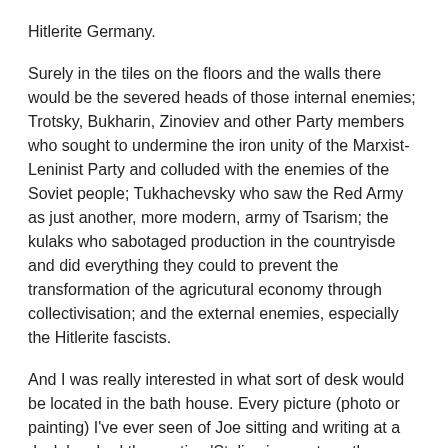Hitlerite Germany.
Surely in the tiles on the floors and the walls there would be the severed heads of those internal enemies; Trotsky, Bukharin, Zinoviev and other Party members who sought to undermine the iron unity of the Marxist-Leninist Party and colluded with the enemies of the Soviet people; Tukhachevsky who saw the Red Army as just another, more modern, army of Tsarism; the kulaks who sabotaged production in the countryisde and did everything they could to prevent the transformation of the agricutural economy through collectivisation; and the external enemies, especially the Hitlerite fascists.
And I was really interested in what sort of desk would be located in the bath house. Every picture (photo or painting) I've ever seen of Joe sitting and writing at a desk has had the caption 'Stalin signs yet another death warrant.' This was even when closer analysis of the actual document said 'Dear Mr Milkman, no milk today'. I have never seen a semi-naked Joe doing this but if he spent so much time in such activities then he wouldn't have wanted to have wasted time when he was up to his chest in warm